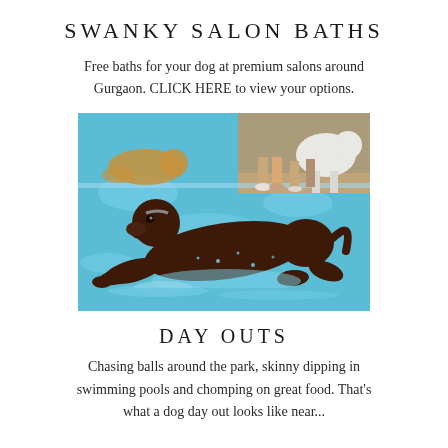SWANKY SALON BATHS
Free baths for your dog at premium salons around Gurgaon. CLICK HERE to view your options.
[Figure (photo): A chocolate Labrador dog jumping or diving into a swimming pool with blue water. In the background, other dogs are visible near the pool edge, and people are standing by.]
DAY OUTS
Chasing balls around the park, skinny dipping in swimming pools and chomping on great food. That's what a dog day out looks like near...